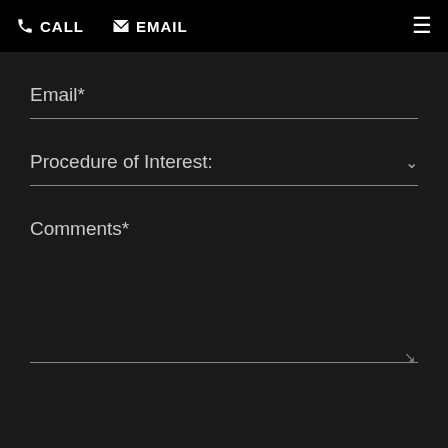CALL  EMAIL
Email*
Procedure of Interest:
Comments*